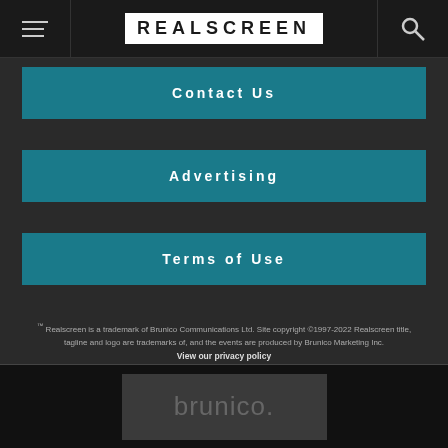REALSCREEN
Contact Us
Advertising
Terms of Use
™ Realscreen is a trademark of Brunico Communications Ltd. Site copyright © 1997-2022 Realscreen title, tagline and logo are trademarks of, and the events are produced by Brunico Marketing Inc. View our privacy policy
[Figure (logo): Brunico logo with stylized lowercase text 'brunico.' on dark background]